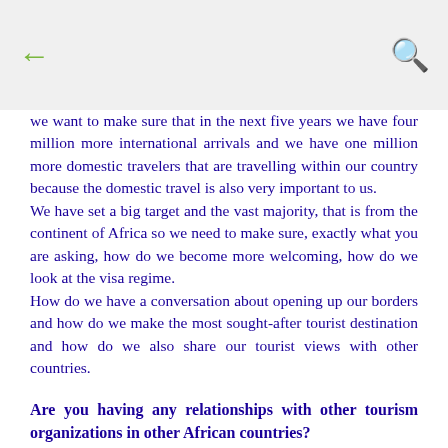← [back] [search]
we want to make sure that in the next five years we have four million more international arrivals and we have one million more domestic travelers that are travelling within our country because the domestic travel is also very important to us. We have set a big target and the vast majority, that is from the continent of Africa so we need to make sure, exactly what you are asking, how do we become more welcoming, how do we look at the visa regime. How do we have a conversation about opening up our borders and how do we make the most sought-after tourist destination and how do we also share our tourist views with other countries.
Are you having any relationships with other tourism organizations in other African countries?
We are in partnership with other tourism organizations in various countries, specifically looking at ways of how we can develop sub-Saharan African overall tourism destination. We have always talked to other tourism partners within Africa to make sure that we will promote it singularly as the most